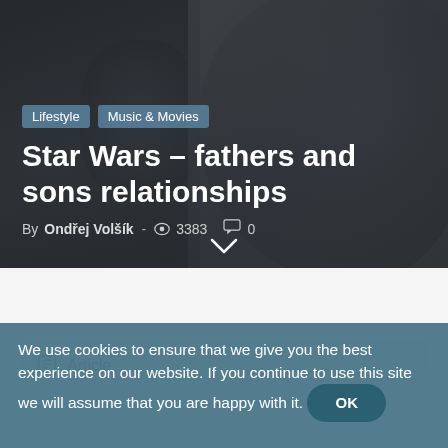[Figure (photo): Dark hero background image showing a figure in dark armor (Darth Vader style) with muted grey tones]
Lifestyle   Music & Movies
Star Wars – fathers and sons relationships
By Ondřej Volšík  · 👁 3383   💬 0
Article
We use cookies to ensure that we give you the best experience on our website. If you continue to use this site we will assume that you are happy with it.  OK